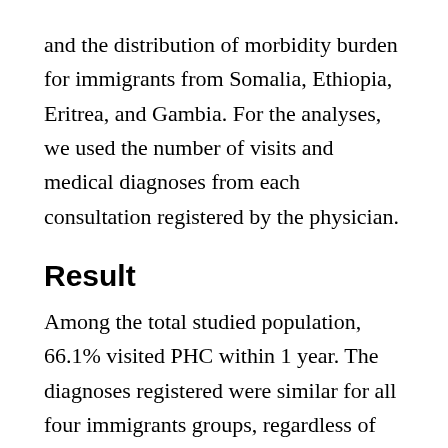and the distribution of morbidity burden for immigrants from Somalia, Ethiopia, Eritrea, and Gambia. For the analyses, we used the number of visits and medical diagnoses from each consultation registered by the physician.
Result
Among the total studied population, 66.1% visited PHC within 1 year. The diagnoses registered were similar for all four immigrants groups, regardless of country of origin. Compared to immigrants from Somalia, the age and sex adjusted odds ratios (OR) for use of GP were significantly lower for Ethiopians (OR 0.91; 0.86–0.97), Eritreans (OR 0.85; 0.79–0.91), and Gambians (OR 0.88; 0.80–0.97). Similarly, we also observed lower use